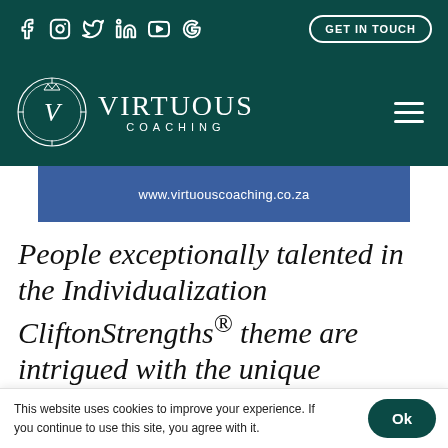Facebook Instagram Twitter LinkedIn YouTube Google | GET IN TOUCH
[Figure (logo): Virtuous Coaching logo with circular emblem and hamburger menu icon]
www.virtuouscoaching.co.za
People exceptionally talented in the Individualization CliftonStrengths® theme are intrigued with the unique qualities of each person. They
This website uses cookies to improve your experience. If you continue to use this site, you agree with it.